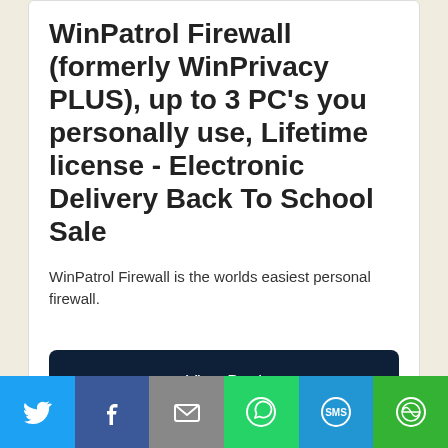WinPatrol Firewall (formerly WinPrivacy PLUS), up to 3 PC's you personally use, Lifetime license - Electronic Delivery Back To School Sale
WinPatrol Firewall is the worlds easiest personal firewall.
View Deal
expired
[Figure (other): Social sharing bar with Twitter, Facebook, Email, WhatsApp, SMS, and More buttons]